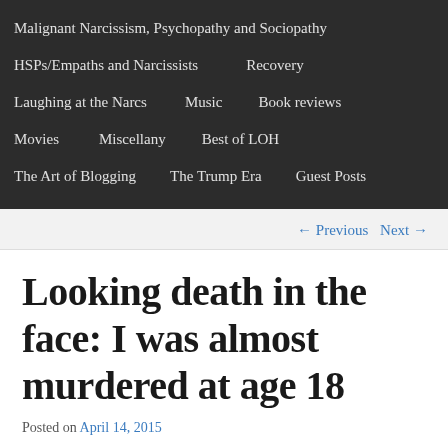Malignant Narcissism, Psychopathy and Sociopathy
HSPs/Empaths and Narcissists
Recovery
Laughing at the Narcs
Music
Book reviews
Movies
Miscellany
Best of LOH
The Art of Blogging
The Trump Era
Guest Posts
← Previous   Next →
Looking death in the face: I was almost murdered at age 18
Posted on April 14, 2015